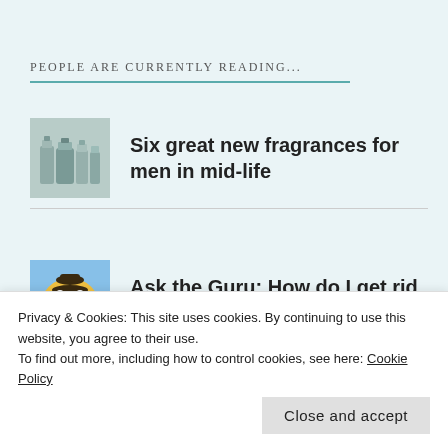PEOPLE ARE CURRENTLY READING...
Six great new fragrances for men in mid-life
Ask the Guru: How do I get rid of my monobrow?
Privacy & Cookies: This site uses cookies. By continuing to use this website, you agree to their use.
To find out more, including how to control cookies, see here: Cookie Policy
Close and accept
Debenhams will sort you out.